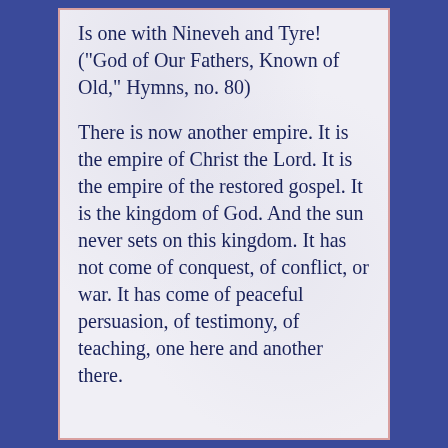Is one with Nineveh and Tyre! ("God of Our Fathers, Known of Old," Hymns, no. 80)
There is now another empire. It is the empire of Christ the Lord. It is the empire of the restored gospel. It is the kingdom of God. And the sun never sets on this kingdom. It has not come of conquest, of conflict, or war. It has come of peaceful persuasion, of testimony, of teaching, one here and another there.